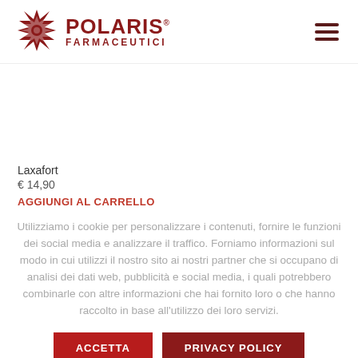[Figure (logo): Polaris Farmaceutici logo with a star/snowflake emblem in dark red and the text POLARIS FARMACEUTICI]
Laxafort
€ 14,90
AGGIUNGI AL CARRELLO
Utilizziamo i cookie per personalizzare i contenuti, fornire le funzioni dei social media e analizzare il traffico. Forniamo informazioni sul modo in cui utilizzi il nostro sito ai nostri partner che si occupano di analisi dei dati web, pubblicità e social media, i quali potrebbero combinarle con altre informazioni che hai fornito loro o che hanno raccolto in base all'utilizzo dei loro servizi.
ACCETTA
PRIVACY POLICY